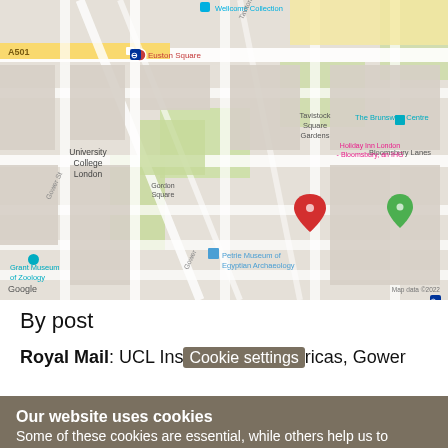[Figure (map): Google Maps screenshot showing UCL area in London (Bloomsbury), with landmarks including Wellcome Collection, Euston Square, University College London, Gordon Square, Tavistock Square Gardens, Petrie Museum of Egyptian Archaeology, Grant Museum of Zoology, Bloomsbury Lanes, Royal National, The Brunswick Centre, Holiday Inn London Bloomsbury, Russell Square, IOE UCL Faculty of Education and Society, University of London. A red location pin is visible. Map data ©2022.]
By post
Royal Mail: UCL Ins[titutte of Ame]ricas, Gower
Our website uses cookies
Some of these cookies are essential, while others help us to improve your experience of our website. Find out more:
Privacy Policy (opens in new window)